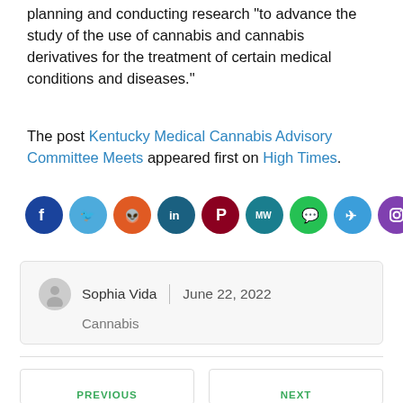planning and conducting research "to advance the study of the use of cannabis and cannabis derivatives for the treatment of certain medical conditions and diseases."
The post Kentucky Medical Cannabis Advisory Committee Meets appeared first on High Times.
[Figure (infographic): Row of 10 social media share icons: Facebook (dark blue), Twitter (light blue), Reddit (orange-red), LinkedIn (dark teal/blue), Pinterest (dark red/crimson), MeWe (teal, MW), WhatsApp (green), Telegram (blue), Instagram (purple), Share (orange)]
Sophia Vida | June 22, 2022 Cannabis
PREVIOUS
NEXT